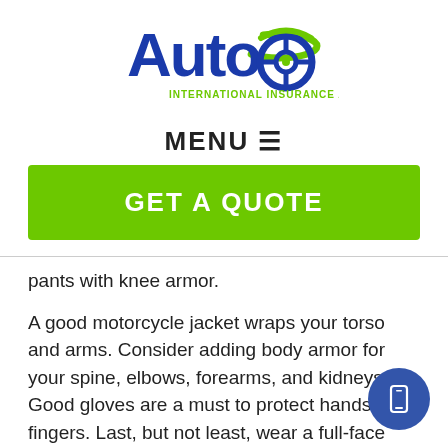[Figure (logo): Auto International Insurance Agency, Inc. logo with blue bold 'Auto' text and green steering wheel graphic]
MENU ≡
[Figure (other): Green 'GET A QUOTE' button banner]
pants with knee armor.
A good motorcycle jacket wraps your torso and arms. Consider adding body armor for your spine, elbows, forearms, and kidneys. Good gloves are a must to protect hands and fingers. Last, but not least, wear a full-face helmet. Your mind and your